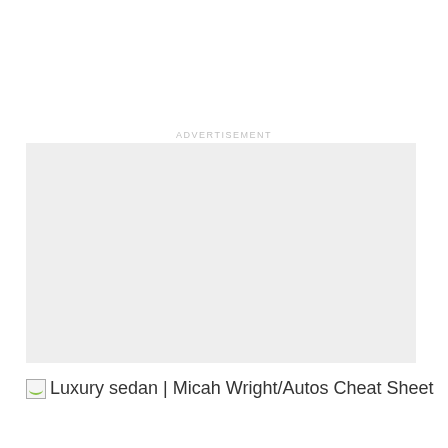ADVERTISEMENT
[Figure (other): Advertisement placeholder box — light gray rectangle]
Luxury sedan | Micah Wright/Autos Cheat Sheet